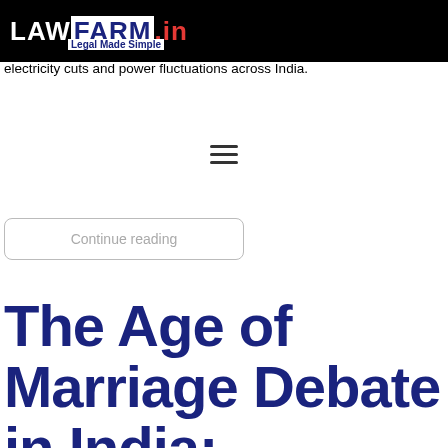LAWFARM.in — Legal Made Simple
India with a population of more than 1.3 billion people is the third largest consumer of power sector in the world. A capacity of 38 was installed by the National Electric Grid of India. Lately, there has been an increase in electricity cuts and power fluctuations across India.
Continue reading
The Age of Marriage Debate in India: Continuities and a